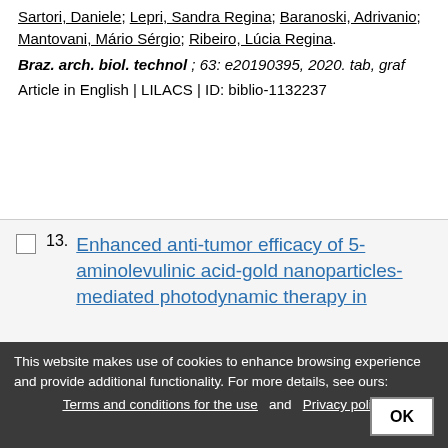Sartori, Daniele; Lepri, Sandra Regina; Baranoski, Adrivanio; Mantovani, Mário Sérgio; Ribeiro, Lúcia Regina. Braz. arch. biol. technol; 63: e20190395, 2020. tab, graf Article in English | LILACS | ID: biblio-1132237
13. Enhanced anti-tumor efficacy of 5-aminolevulinic acid-gold nanoparticles-mediated photodynamic therapy in
Zeng, Wei-hui
This website makes use of cookies to enhance browsing experience and provide additional functionality. For more details, see ours: Terms and conditions for the use and Privacy policy